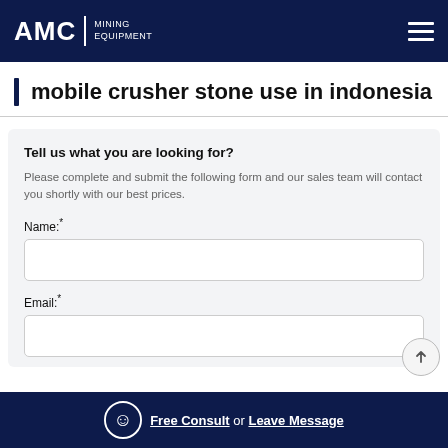AMC | MINING EQUIPMENT
mobile crusher stone use in indonesia
Tell us what you are looking for?
Please complete and submit the following form and our sales team will contact you shortly with our best prices.
Name:*
Email:*
Free Consult or Leave Message